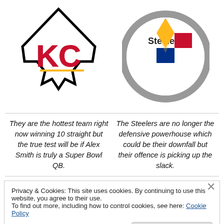[Figure (logo): Kansas City Chiefs logo - arrowhead shape with KC letters in red and gold]
[Figure (logo): Pittsburgh Steelers logo - circular with Steelers text and four colored diamonds]
They are the hottest team right now winning 10 straight but the true test will be if Alex Smith is truly a Super Bowl QB.
The Steelers are no longer the defensive powerhouse which could be their downfall but their offence is picking up the slack.
Privacy & Cookies: This site uses cookies. By continuing to use this website, you agree to their use.
To find out more, including how to control cookies, see here: Cookie Policy